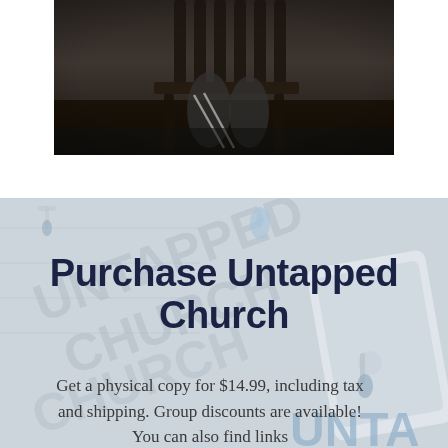[Figure (photo): Photo of a person seated in a dark wooden chair, photographed from a low angle, showing legs and the chair legs on a dark wooden floor. Image is centered horizontally at the top of the page.]
[Figure (photo): Background photo showing book/tablet mockups of 'Untapped Church' with water faucet/tap imagery and large watermarked text reading 'UNTAPPED CHURCH' overlaid. Light grey-blue tones.]
Purchase Untapped Church
Get a physical copy for $14.99, including tax and shipping. Group discounts are available! You can also find links